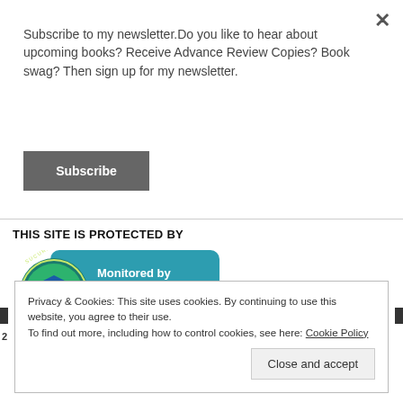Subscribe to my newsletter.Do you like to hear about upcoming books? Receive Advance Review Copies? Book swag? Then sign up for my newsletter.
Subscribe
THIS SITE IS PROTECTED BY
[Figure (logo): Sucuri security badge — teal rounded rectangle with shield logo and text 'Monitored by Sucuri', 'Verified Site', 'Verified to be Malware Free']
Privacy & Cookies: This site uses cookies. By continuing to use this website, you agree to their use. To find out more, including how to control cookies, see here: Cookie Policy
Close and accept